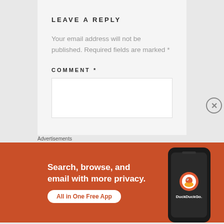LEAVE A REPLY
Your email address will not be published. Required fields are marked *
COMMENT *
[Figure (screenshot): Comment text area input box (white rectangle)]
Advertisements
[Figure (infographic): DuckDuckGo advertisement banner with orange background. Text: 'Search, browse, and email with more privacy. All in One Free App' with DuckDuckGo logo on a phone mockup.]